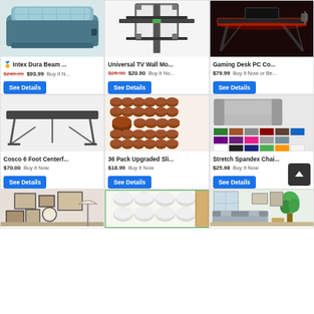[Figure (photo): Intex Dura Beam air mattress product photo]
Intex Dura Beam ...
$249.99 $93.99 Buy It N...
See Details
[Figure (photo): Universal TV Wall Mount bracket product photo]
Universal TV Wall Mo...
$25.90 $20.90 Buy It No...
See Details
[Figure (photo): Gaming Desk PC Computer desk with red LED lighting]
Gaming Desk PC Co...
$79.99 Buy It Now or Be...
See Details
[Figure (photo): Cosco 6 Foot centerfold folding table product photo]
Cosco 6 Foot Centerf...
$70.00 Buy It Now
See Details
[Figure (photo): 36 Pack Upgraded Slip furniture pads brown cups photo]
36 Pack Upgraded Sli...
$18.99 Buy It Now
See Details
[Figure (photo): Stretch Spandex Chair sofa cover with color swatches]
Stretch Spandex Chai...
$25.98 Buy It Now
See Details
[Figure (photo): Room interior with gallery wall decor - partial view]
[Figure (photo): White furniture leg caps/pad product - partial view]
[Figure (photo): Living room sofa interior - partial view]